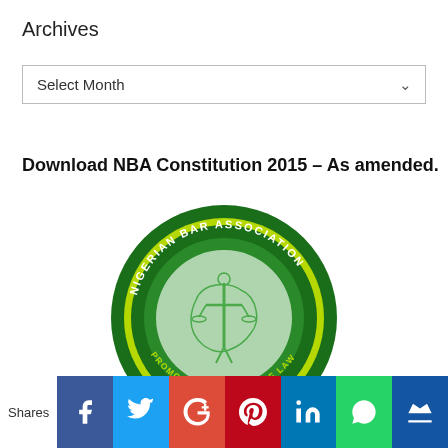Archives
Select Month
Download NBA Constitution 2015 – As amended.
[Figure (logo): Nigerian Bar Association circular green logo with a figure holding scales of justice over a map of Nigeria, with the text 'NIGERIAN BAR ASSOCIATION' and 'PROMOTING THE RULE OF LAW' around the border.]
Shares